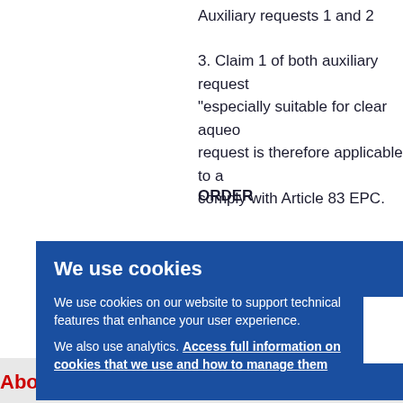Auxiliary requests 1 and 2
3. Claim 1 of both auxiliary requests "especially suitable for clear aqueous request is therefore applicable to a comply with Article 83 EPC.
ORDER
For these reasons it is decided that
We use cookies
We use cookies on our website to support technical features that enhance your user experience. We also use analytics. Access full information on cookies that we use and how to manage them
Abo